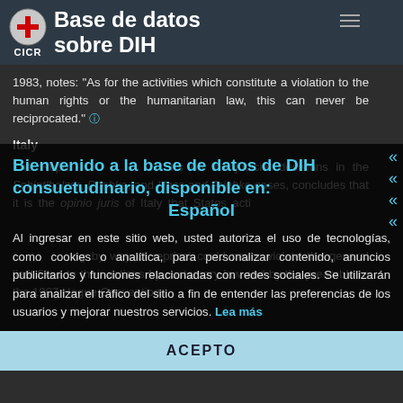Base de datos sobre DIH — CICR
1983, notes: “As for the activities which constitute a violation to the human rights or the humanitarian law, this can never be reciprocated.”
Italy
The Reports on the Schintlholzer, Priebke, and Hass and Priebke cases, concludes that it is the opinio juris of Italy that States acting by way of reprisal could never violate the general limit fixed to their actions by customary law and by the preamble to the 1907 Hague Convention
Bienvenido a la base de datos de DIH consuetudinario, disponible en:
Español
Al ingresar en este sitio web, usted autoriza el uso de tecnologías, como cookies o analítica, para personalizar contenido, anuncios publicitarios y funciones relacionadas con redes sociales. Se utilizarán para analizar el tráfico del sitio a fin de entender las preferencias de los usuarios y mejorar nuestros servicios. Lea más
ACEPTO